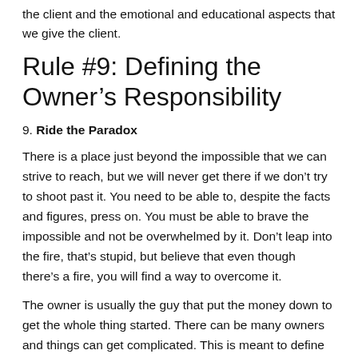the client and the emotional and educational aspects that we give the client.
Rule #9: Defining the Owner’s Responsibility
9. Ride the Paradox
There is a place just beyond the impossible that we can strive to reach, but we will never get there if we don’t try to shoot past it. You need to be able to, despite the facts and figures, press on. You must be able to brave the impossible and not be overwhelmed by it. Don’t leap into the fire, that’s stupid, but believe that even though there’s a fire, you will find a way to overcome it.
The owner is usually the guy that put the money down to get the whole thing started. There can be many owners and things can get complicated. This is meant to define what the role of the owner is inside a project